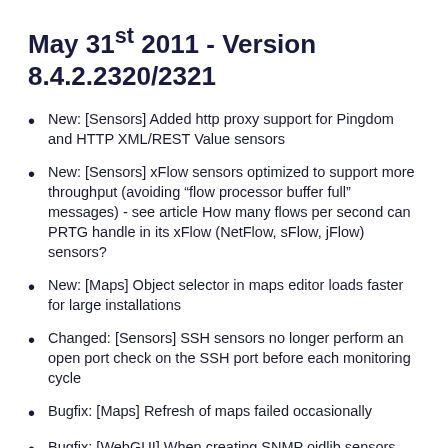May 31st 2011 - Version 8.4.2.2320/2321
New: [Sensors] Added http proxy support for Pingdom and HTTP XML/REST Value sensors
New: [Sensors] xFlow sensors optimized to support more throughput (avoiding “flow processor buffer full” messages) - see article How many flows per second can PRTG handle in its xFlow (NetFlow, sFlow, jFlow) sensors?
New: [Maps] Object selector in maps editor loads faster for large installations
Changed: [Sensors] SSH sensors no longer perform an open port check on the SSH port before each monitoring cycle
Bugfix: [Maps] Refresh of maps failed occasionally
Bugfix: [WebGUI] When creating SNMP oidlib sensors sometimes the list of available oidlibs was incomplete